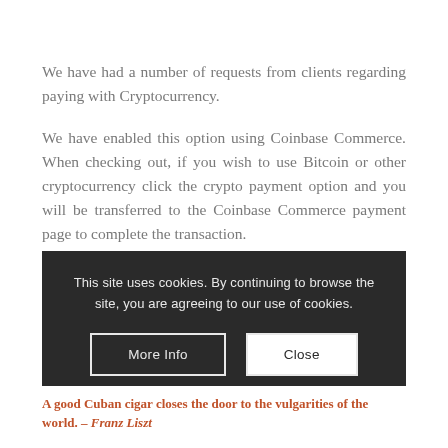We have had a number of requests from clients regarding paying with Cryptocurrency.
We have enabled this option using Coinbase Commerce. When checking out, if you wish to use Bitcoin or other cryptocurrency click the crypto payment option and you will be transferred to the Coinbase Commerce payment page to complete the transaction.
Through Coinbase, we accept BTC, BCH, ETH, DAI, ETH, LTC and USDC.
[Figure (screenshot): Cookie consent banner with dark background reading 'This site uses cookies. By continuing to browse the site, you are agreeing to our use of cookies.' with two buttons: 'More Info' and 'Close'.]
A good Cuban cigar closes the door to the vulgarities of the world. – Franz Liszt